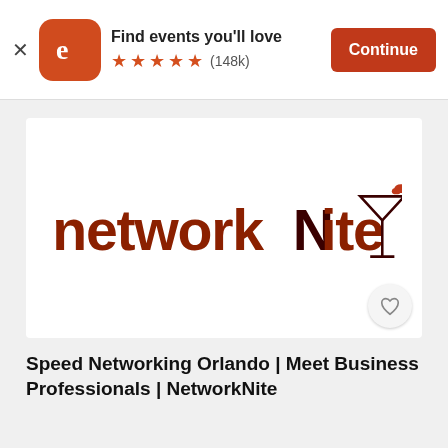[Figure (screenshot): Eventbrite app banner with orange icon showing letter e, text 'Find events you'll love', five orange stars, rating (148k), and orange Continue button]
[Figure (logo): NetworkNite logo in dark red/brown with stylized lowercase text 'networkNite' and a martini glass with a dumbbell garnish on the right]
Speed Networking Orlando | Meet Business Professionals | NetworkNite
Thu, Nov 3, 7:00 PM